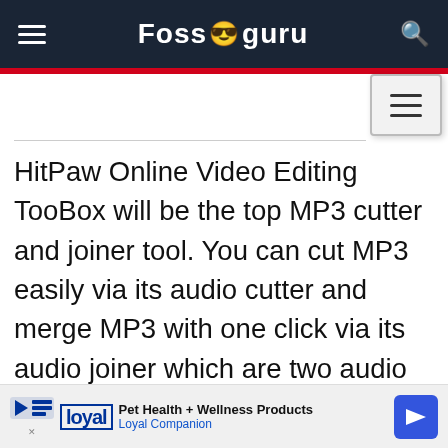Fossguru
HitPaw Online Video Editing TooBox will be the top MP3 cutter and joiner tool. You can cut MP3 easily via its audio cutter and merge MP3 with one click via its audio joiner which are two audio features in HitPaw Online Video Editing ToolBox. Compared with other MP3 cutter and joiner tools, HitPaw Online Video Editing ToolBox is much easier, more stable, and
[Figure (other): Advertisement banner for Loyal Companion pet health and wellness products]